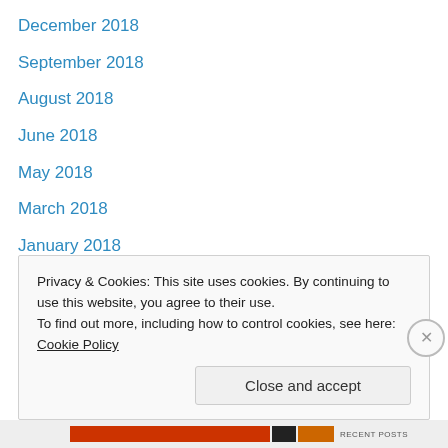December 2018
September 2018
August 2018
June 2018
May 2018
March 2018
January 2018
December 2017
November 2017
September 2017
August 2017
July 2017
June 2017
Privacy & Cookies: This site uses cookies. By continuing to use this website, you agree to their use. To find out more, including how to control cookies, see here: Cookie Policy
Close and accept